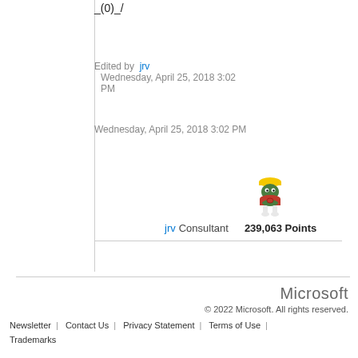_(0)_/
Edited by jrv Wednesday, April 25, 2018 3:02 PM
Wednesday, April 25, 2018 3:02 PM
[Figure (illustration): Marvin the Martian cartoon character avatar]
jrv Consultant 239,063 Points
Microsoft © 2022 Microsoft. All rights reserved. Newsletter | Contact Us | Privacy Statement | Terms of Use | Trademarks